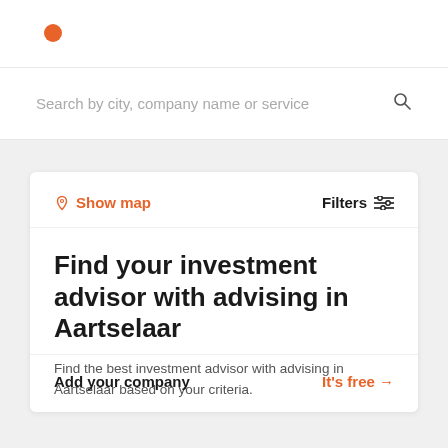[Figure (logo): Orange circle logo dot in page header]
Search by city, company name or service
Show map
Filters
Find your investment advisor with advising in Aartselaar
Find the best investment advisor with advising in Aartselaar based on your criteria.
Add your company
It's free →